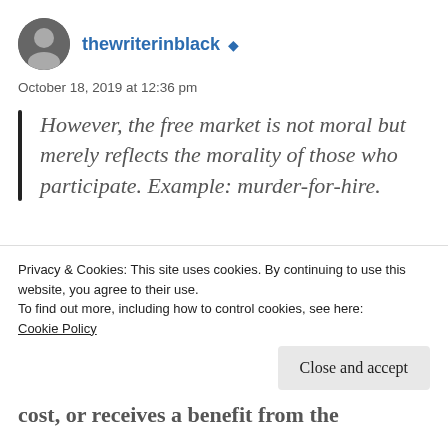thewriterinblack ▲
October 18, 2019 at 12:36 pm
However, the free market is not moral but merely reflects the morality of those who participate. Example: murder-for-hire.
What you're describing there is an extreme example of what the late Milton Friedman
Privacy & Cookies: This site uses cookies. By continuing to use this website, you agree to their use.
To find out more, including how to control cookies, see here:
Cookie Policy
Close and accept
cost, or receives a benefit from the